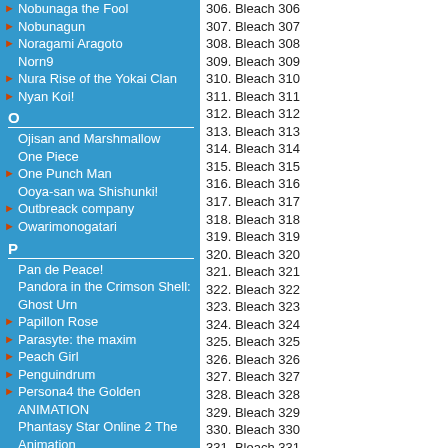Nobunaga the Fool
Nobunagun
Noragami Aragoto
Norn9
Nura Rise of the Yokai Clan
Nyan Koi!
O
Ojisan and Marshmallow
One Piece
One Punch Man
Ooya-san wa Shishunki!
Outbreack company
Owarimonogatari
P
Pan de Peace!
Pandora in the Crimson Shell: Ghost Urn
Papillon Rose
Parasyte: the maxim
Peach Girl
Penguindrum
Persona4 the Golden ANIMATION
Phantasy Star Online 2 The Animation
Ping Pong the Animation
Plastic Memories
Please tell me! Galko-chan
Polyphonica
Polyphonica Crimson S
Prince of Stride: Alternative
Princess Tutu
Psychic Detective Yakumo
Punch Line
306. Bleach 306
307. Bleach 307
308. Bleach 308
309. Bleach 309
310. Bleach 310
311. Bleach 311
312. Bleach 312
313. Bleach 313
314. Bleach 314
315. Bleach 315
316. Bleach 316
317. Bleach 317
318. Bleach 318
319. Bleach 319
320. Bleach 320
321. Bleach 321
322. Bleach 322
323. Bleach 323
324. Bleach 324
325. Bleach 325
326. Bleach 326
327. Bleach 327
328. Bleach 328
329. Bleach 329
330. Bleach 330
331. Bleach 331
332. Bleach 332
333. Bleach 333
334. Bleach 334
335. Bleach 335
336. Bleach 336
337. Bleach 337
338. Bleach 338
339. Bleach 339
340. Bleach 340
341. Bleach 341
342. Bleach 342
343. Bleach 343